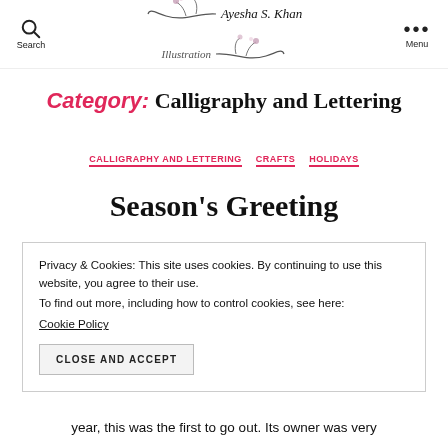Search | Ayesha S. Khan Illustration | Menu
Category: Calligraphy and Lettering
CALLIGRAPHY AND LETTERING  CRAFTS  HOLIDAYS
Season's Greeting
Privacy & Cookies: This site uses cookies. By continuing to use this website, you agree to their use.
To find out more, including how to control cookies, see here:
Cookie Policy
CLOSE AND ACCEPT
year, this was the first to go out. Its owner was very